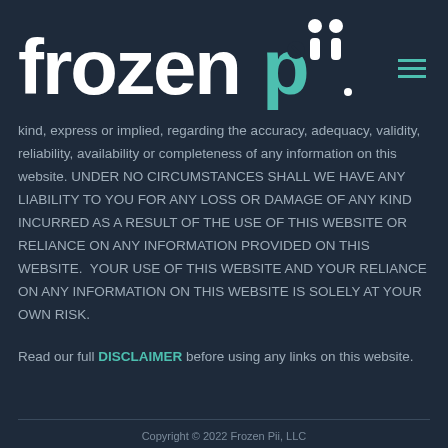[Figure (logo): FrozenPii logo with teal and white lettering and hamburger menu icon]
kind, express or implied, regarding the accuracy, adequacy, validity, reliability, availability or completeness of any information on this website. UNDER NO CIRCUMSTANCES SHALL WE HAVE ANY LIABILITY TO YOU FOR ANY LOSS OR DAMAGE OF ANY KIND INCURRED AS A RESULT OF THE USE OF THIS WEBSITE OR RELIANCE ON ANY INFORMATION PROVIDED ON THIS WEBSITE.  YOUR USE OF THIS WEBSITE AND YOUR RELIANCE ON ANY INFORMATION ON THIS WEBSITE IS SOLELY AT YOUR OWN RISK.
Read our full DISCLAIMER before using any links on this website.
Copyright © 2022 Frozen Pii, LLC